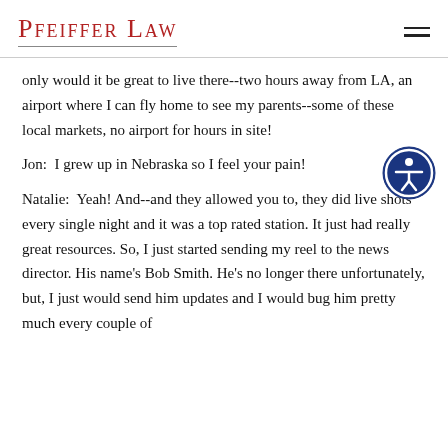Pfeiffer Law
only would it be great to live there--two hours away from LA, an airport where I can fly home to see my parents--some of these local markets, no airport for hours in site!
Jon:  I grew up in Nebraska so I feel your pain!
Natalie:  Yeah! And--and they allowed you to, they did live shots every single night and it was a top rated station. It just had really great resources. So, I just started sending my reel to the news director. His name's Bob Smith. He's no longer there unfortunately, but, I just would send him updates and I would bug him pretty much every couple of